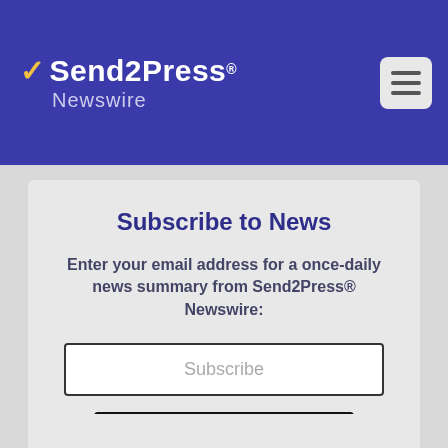[Figure (logo): Send2Press Newswire logo with lightning bolt icon on dark blue header banner, with hamburger menu icon in top right]
Subscribe to News
Enter your email address for a once-daily news summary from Send2Press® Newswire:
Subscribe
SUBSCRIBE
Delivered by Google/FeedBurner
» PRIVACY POLICY